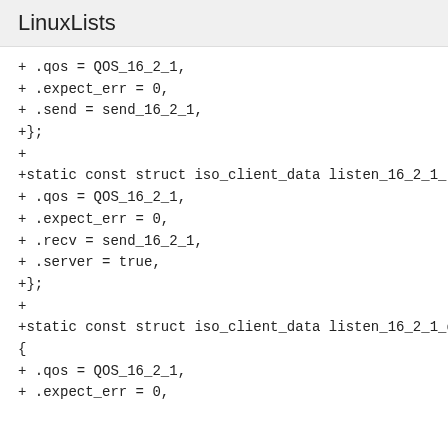LinuxLists
+ .qos = QOS_16_2_1,
+ .expect_err = 0,
+ .send = send_16_2_1,
+};
+
+static const struct iso_client_data listen_16_2_1_recv = {
+ .qos = QOS_16_2_1,
+ .expect_err = 0,
+ .recv = send_16_2_1,
+ .server = true,
+};
+
+static const struct iso_client_data listen_16_2_1_defer_recv =
{
+ .qos = QOS_16_2_1,
+ .expect_err = 0,